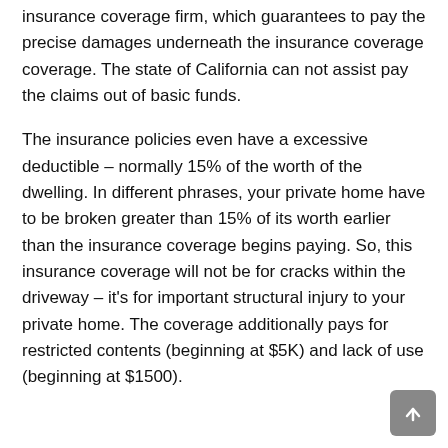insurance coverage firm, which guarantees to pay the precise damages underneath the insurance coverage coverage. The state of California can not assist pay the claims out of basic funds.
The insurance policies even have a excessive deductible – normally 15% of the worth of the dwelling. In different phrases, your private home have to be broken greater than 15% of its worth earlier than the insurance coverage begins paying. So, this insurance coverage will not be for cracks within the driveway – it's for important structural injury to your private home. The coverage additionally pays for restricted contents (beginning at $5K) and lack of use (beginning at $1500).